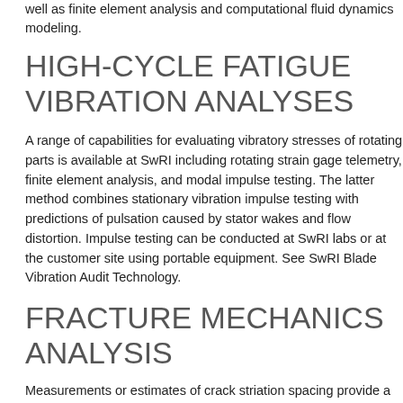well as finite element analysis and computational fluid dynamics modeling.
HIGH-CYCLE FATIGUE VIBRATION ANALYSES
A range of capabilities for evaluating vibratory stresses of rotating parts is available at SwRI including rotating strain gage telemetry, finite element analysis, and modal impulse testing. The latter method combines stationary vibration impulse testing with predictions of pulsation caused by stator wakes and flow distortion. Impulse testing can be conducted at SwRI labs or at the customer site using portable equipment. See SwRI Blade Vibration Audit Technology.
FRACTURE MECHANICS ANALYSIS
Measurements or estimates of crack striation spacing provide a means for estimating fatigue life and endurance